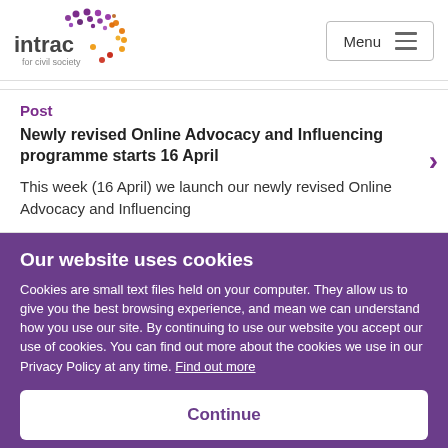[Figure (logo): INTRAC for civil society logo with colorful dot pattern forming a circular shape]
Menu
Post
Newly revised Online Advocacy and Influencing programme starts 16 April
This week (16 April) we launch our newly revised Online Advocacy and Influencing
Our website uses cookies
Cookies are small text files held on your computer. They allow us to give you the best browsing experience, and mean we can understand how you use our site. By continuing to use our website you accept our use of cookies. You can find out more about the cookies we use in our Privacy Policy at any time. Find out more
Continue